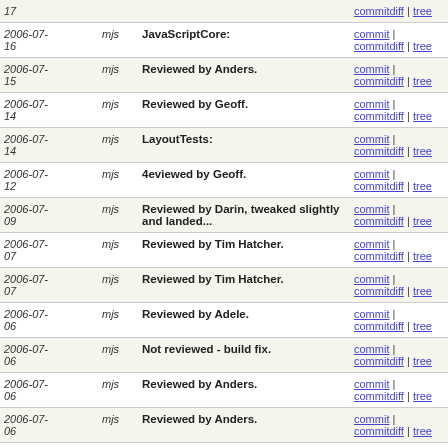| date | author | message | links |
| --- | --- | --- | --- |
| 17 | mjs |  | commitdiff | tree |
| 2006-07-16 | mjs | JavaScriptCore: | commit | commitdiff | tree |
| 2006-07-15 | mjs | Reviewed by Anders. | commit | commitdiff | tree |
| 2006-07-14 | mjs | Reviewed by Geoff. | commit | commitdiff | tree |
| 2006-07-14 | mjs | LayoutTests: | commit | commitdiff | tree |
| 2006-07-12 | mjs | 4eviewed by Geoff. | commit | commitdiff | tree |
| 2006-07-09 | mjs | Reviewed by Darin, tweaked slightly and landed... | commit | commitdiff | tree |
| 2006-07-07 | mjs | Reviewed by Tim Hatcher. | commit | commitdiff | tree |
| 2006-07-07 | mjs | Reviewed by Tim Hatcher. | commit | commitdiff | tree |
| 2006-07-06 | mjs | Reviewed by Adele. | commit | commitdiff | tree |
| 2006-07-06 | mjs | Not reviewed - build fix. | commit | commitdiff | tree |
| 2006-07-06 | mjs | Reviewed by Anders. | commit | commitdiff | tree |
| 2006-07-06 | mjs | Reviewed by Anders. | commit | commitdiff | tree |
| 2006-07-06 | mjs | Reviewed by Adele. | commit | commitdiff | tree |